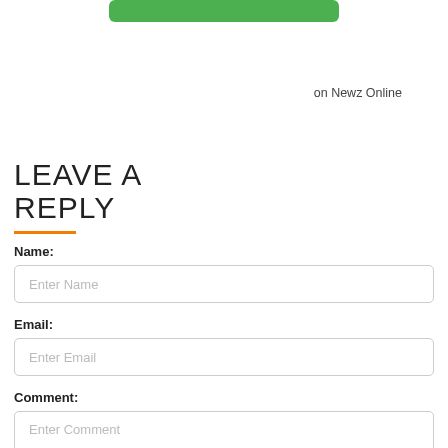[Figure (other): Green rounded button at top center]
on Newz Online
LEAVE A REPLY
Name:
Enter Name
Email:
Enter Email
Comment:
Enter Comment